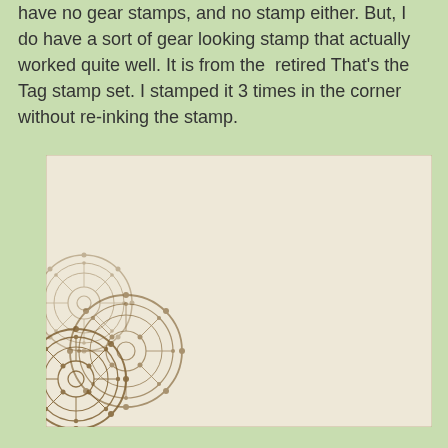have no gear stamps, and no stamp either. But, I do have a sort of gear looking stamp that actually worked quite well. It is from the retired That's the Tag stamp set. I stamped it 3 times in the corner without re-inking the stamp.
[Figure (photo): A cream/off-white card or paper with gear/mandala circular stamps in brown ink repeated 3 times in the lower-left corner, creating a layered translucent effect.]